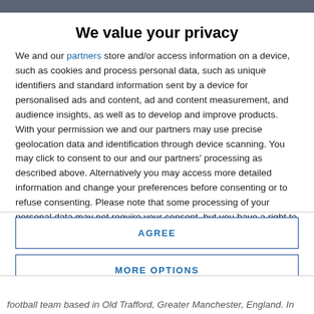We value your privacy
We and our partners store and/or access information on a device, such as cookies and process personal data, such as unique identifiers and standard information sent by a device for personalised ads and content, ad and content measurement, and audience insights, as well as to develop and improve products. With your permission we and our partners may use precise geolocation data and identification through device scanning. You may click to consent to our and our partners' processing as described above. Alternatively you may access more detailed information and change your preferences before consenting or to refuse consenting. Please note that some processing of your personal data may not require your consent, but you have a right to
AGREE
MORE OPTIONS
football team based in Old Trafford, Greater Manchester, England. In